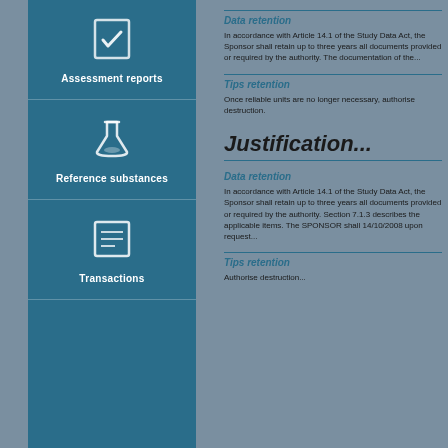[Figure (infographic): Teal vertical panel with three icon sections: 'Assessment reports' (checkmark icon), 'Reference substances' (flask icon), 'Transactions' (document icon)]
Data retention
In accordance with Article 14.1 of the Study Data Act, the Sponsor shall retain up to three years all documents provided or required by the authority. The documentation of the...
Tips retention
Once reliable units are no longer necessary, authorise destruction.
Justification...
Data retention
In accordance with Article 14.1 of the Study Data Act, the Sponsor shall retain up to three years all documents provided or required by the authority. Section 7.1.3 describes the applicable items. The SPONSOR shall 14/10/2008 upon request...
Tips retention
Authorise destruction...